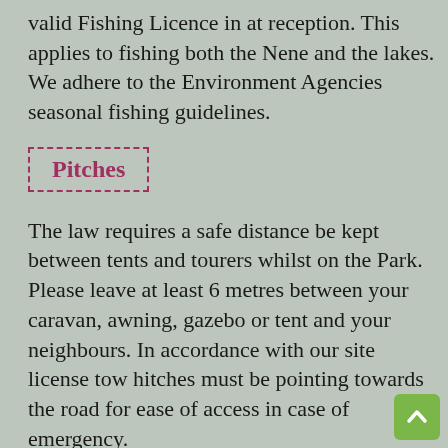valid Fishing Licence in at reception. This applies to fishing both the Nene and the lakes. We adhere to the Environment Agencies seasonal fishing guidelines.
Pitches
The law requires a safe distance be kept between tents and tourers whilst on the Park. Please leave at least 6 metres between your caravan, awning, gazebo or tent and your neighbours. In accordance with our site license tow hitches must be pointing towards the road for ease of access in case of emergency.